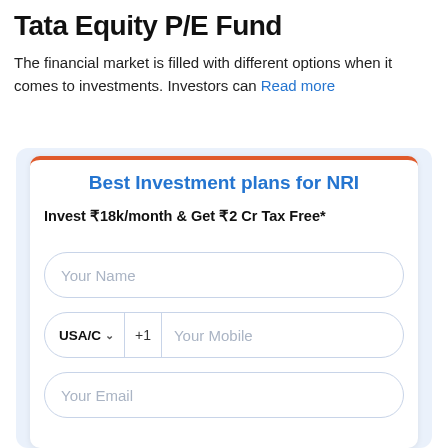Tata Equity P/E Fund
The financial market is filled with different options when it comes to investments. Investors can Read more
[Figure (screenshot): Investment lead capture form card with orange top border, blue heading 'Best Investment plans for NRI', subtext 'Invest ₹18k/month & Get ₹2 Cr Tax Free*', and three input fields: Your Name, mobile with USA/C +1 country code dropdown, and Your Email.]